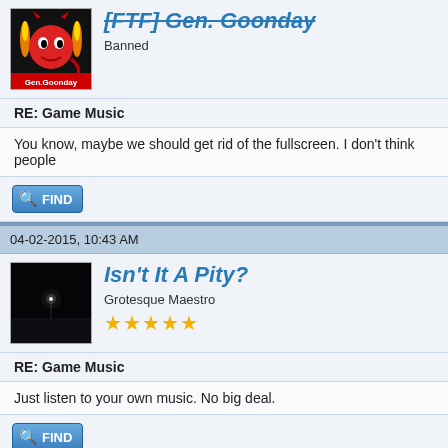[Figure (illustration): Forum avatar for [FTF] Gen. Goonday: red devil cartoon character with flames, text Gen.Goonday at bottom on red background]
[FTF] Gen. Goonday
Banned
RE: Game Music
You know, maybe we should get rid of the fullscreen. I don't think people
FIND
04-02-2015, 10:43 AM
[Figure (photo): Dark/night scene avatar for Isn't It A Pity? user Grotesque Maestro]
Isn't It A Pity?
Grotesque Maestro
[Figure (other): 5 gold stars rating]
RE: Game Music
Just listen to your own music. No big deal.
FIND
04-02-2015, 02:05 PM
[Figure (illustration): Green monster cartoon avatar for user Vexis]
Vexis
BAD!